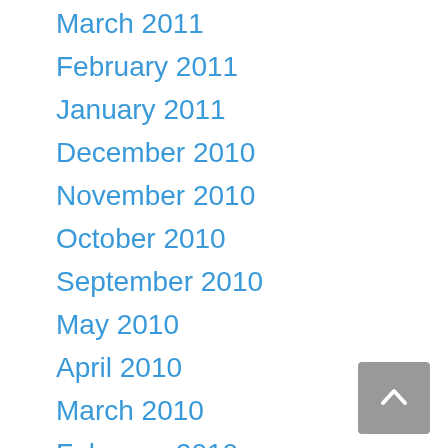March 2011
February 2011
January 2011
December 2010
November 2010
October 2010
September 2010
May 2010
April 2010
March 2010
February 2010
January 2010
December 2009
November 2009
October 2009